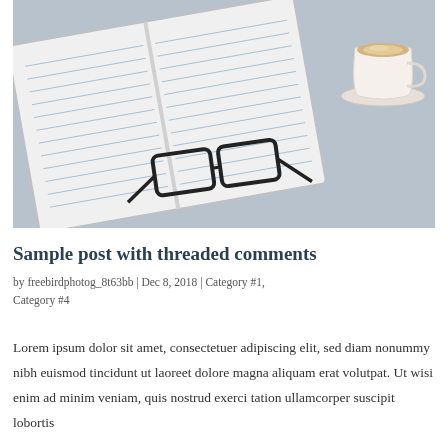[Figure (photo): Overhead photo of an open blank notebook with lined pages, a cup of coffee/latte in the upper right, and black-framed glasses resting on the notebook, all on a light blue-grey fabric background.]
Sample post with threaded comments
by freebirdphotog_8t63bb | Dec 8, 2018 | Category #1, Category #4
Lorem ipsum dolor sit amet, consectetuer adipiscing elit, sed diam nonummy nibh euismod tincidunt ut laoreet dolore magna aliquam erat volutpat. Ut wisi enim ad minim veniam, quis nostrud exerci tation ullamcorper suscipit lobortis